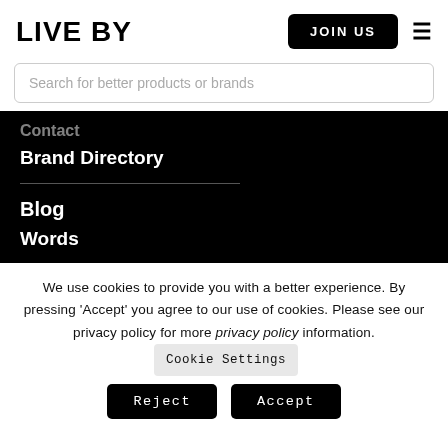LIVE BY
JOIN US
Search for better products or brands
Contact
Brand Directory
Blog
Words
We use cookies to provide you with a better experience. By pressing ‘Accept’ you agree to our use of cookies. Please see our privacy policy for more privacy policy information.
Cookie Settings
Reject
Accept